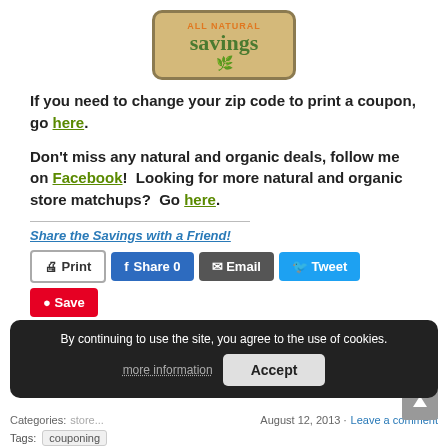[Figure (logo): All Natural Savings logo — tan rounded rectangle with orange 'ALL NATURAL' text and large dark green 'savings' text with leaf icons]
If you need to change your zip code to print a coupon, go here.
Don't miss any natural and organic deals, follow me on Facebook!  Looking for more natural and organic store matchups?  Go here.
Share the Savings with a Friend!
Print  Share 0  Email  Tweet  Save  More
By continuing to use the site, you agree to the use of cookies. more information  Accept
Categories: ... August 12, 2013 · Leave a comment
Tags:  couponing